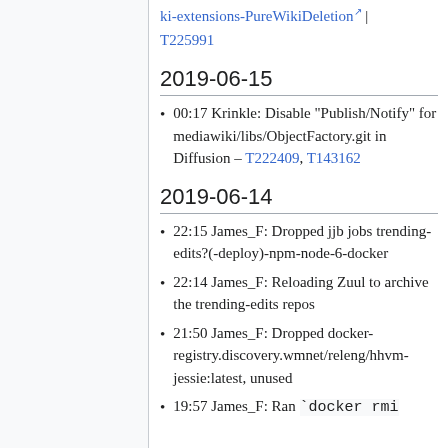ki-extensions-PureWikiDeletion | T225991
2019-06-15
00:17 Krinkle: Disable "Publish/Notify" for mediawiki/libs/ObjectFactory.git in Diffusion – T222409, T143162
2019-06-14
22:15 James_F: Dropped jjb jobs trending-edits?(-deploy)-npm-node-6-docker
22:14 James_F: Reloading Zuul to archive the trending-edits repos
21:50 James_F: Dropped docker-registry.discovery.wmnet/releng/hhvm-jessie:latest, unused
19:57 James_F: Ran `docker rmi